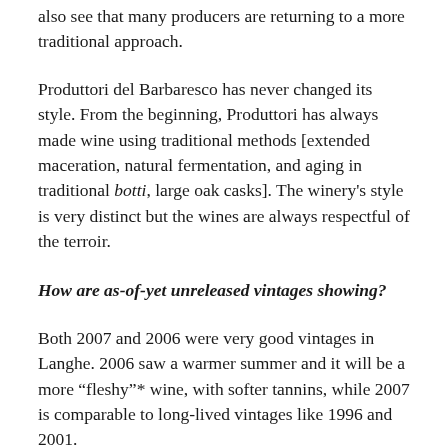also see that many producers are returning to a more traditional approach.
Produttori del Barbaresco has never changed its style. From the beginning, Produttori has always made wine using traditional methods [extended maceration, natural fermentation, and aging in traditional botti, large oak casks]. The winery's style is very distinct but the wines are always respectful of the terroir.
How are as-of-yet unreleased vintages showing?
Both 2007 and 2006 were very good vintages in Langhe. 2006 saw a warmer summer and it will be a more “fleshy”* wine, with softer tannins, while 2007 is comparable to long-lived vintages like 1996 and 2001.